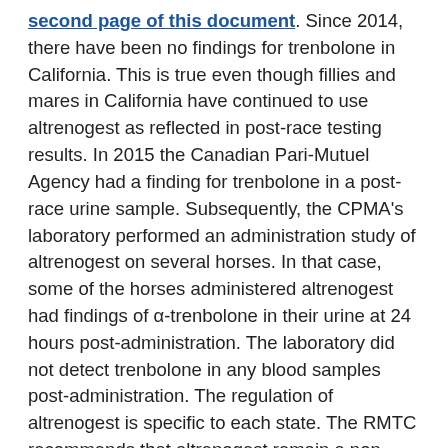second page of this document. Since 2014, there have been no findings for trenbolone in California. This is true even though fillies and mares in California have continued to use altrenogest as reflected in post-race testing results. In 2015 the Canadian Pari-Mutuel Agency had a finding for trenbolone in a post-race urine sample. Subsequently, the CPMA's laboratory performed an administration study of altrenogest on several horses. In that case, some of the horses administered altrenogest had findings of α-trenbolone in their urine at 24 hours post-administration. The laboratory did not detect trenbolone in any blood samples post-administration. The regulation of altrenogest is specific to each state. The RMTC recommends that altrenogest remain a non-violation in fillies and mares unless administered in contravention of the jurisdiction's mandatory stand down or other